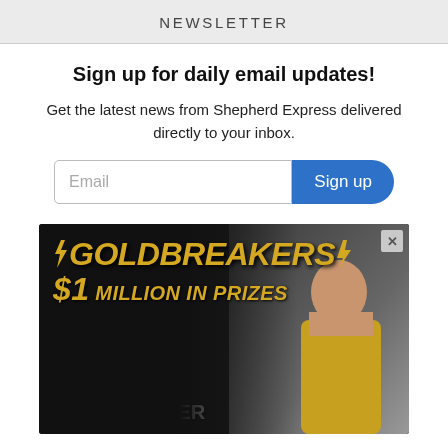NEWSLETTER
Sign up for daily email updates!
Get the latest news from Shepherd Express delivered directly to your inbox.
[Figure (screenshot): Email input field with placeholder 'Email' and a blue 'Sign up' button]
[Figure (photo): Advertisement for Goldbreakers $1 Million in Prizes. Play & Win Sundays in September. Shows a woman in a gold dress at slot machines.]